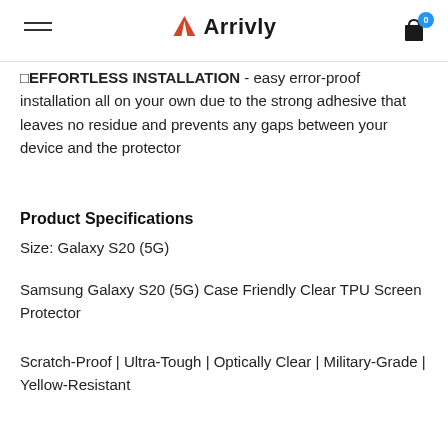Arrivly
✓EFFORTLESS INSTALLATION - easy error-proof installation all on your own due to the strong adhesive that leaves no residue and prevents any gaps between your device and the protector
Product Specifications
Size: Galaxy S20 (5G)
Samsung Galaxy S20 (5G) Case Friendly Clear TPU Screen Protector
Scratch-Proof | Ultra-Tough | Optically Clear | Military-Grade | Yellow-Resistant